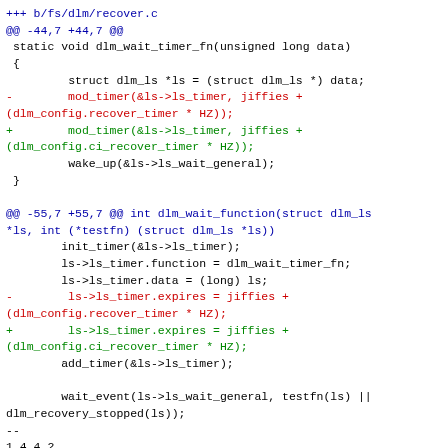+++ b/fs/dlm/recover.c
@@ -44,7 +44,7 @@
 static void dlm_wait_timer_fn(unsigned long data)
 {
         struct dlm_ls *ls = (struct dlm_ls *) data;
-        mod_timer(&ls->ls_timer, jiffies +
(dlm_config.recover_timer * HZ));
+        mod_timer(&ls->ls_timer, jiffies +
(dlm_config.ci_recover_timer * HZ));
         wake_up(&ls->ls_wait_general);
 }
@@ -55,7 +55,7 @@ int dlm_wait_function(struct dlm_ls
*ls, int (*testfn) (struct dlm_ls *ls))
        init_timer(&ls->ls_timer);
        ls->ls_timer.function = dlm_wait_timer_fn;
        ls->ls_timer.data = (long) ls;
-        ls->ls_timer.expires = jiffies +
(dlm_config.recover_timer * HZ);
+        ls->ls_timer.expires = jiffies +
(dlm_config.ci_recover_timer * HZ);
        add_timer(&ls->ls_timer);

        wait_event(ls->ls_wait_general, testfn(ls) ||
dlm_recovery_stopped(ls));
--
1.4.4.2